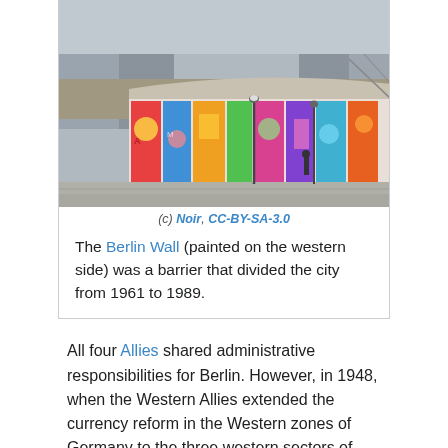[Figure (photo): Photo of the Berlin Wall painted with colorful graffiti on the western side. The wall curves away into the distance with a cleared strip visible behind it and buildings in the background.]
(c) Noir, CC-BY-SA-3.0
The Berlin Wall (painted on the western side) was a barrier that divided the city from 1961 to 1989.
All four Allies shared administrative responsibilities for Berlin. However, in 1948, when the Western Allies extended the currency reform in the Western zones of Germany to the three western sectors of Berlin, the Soviet Union imposed a blockade on the access routes to and from West Berlin, which lay entirely inside Soviet-controlled territory. The Berlin airlift, conducted by the three western Allies, overcame this blockade by